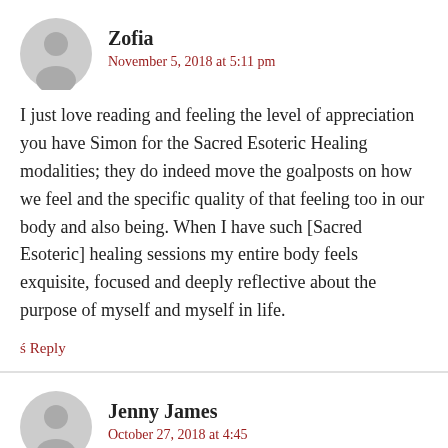Zofia
November 5, 2018 at 5:11 pm
I just love reading and feeling the level of appreciation you have Simon for the Sacred Esoteric Healing modalities; they do indeed move the goalposts on how we feel and the specific quality of that feeling too in our body and also being. When I have such [Sacred Esoteric] healing sessions my entire body feels exquisite, focused and deeply reflective about the purpose of myself and myself in life.
Reply
Jenny James
October 27, 2018 at 4:45